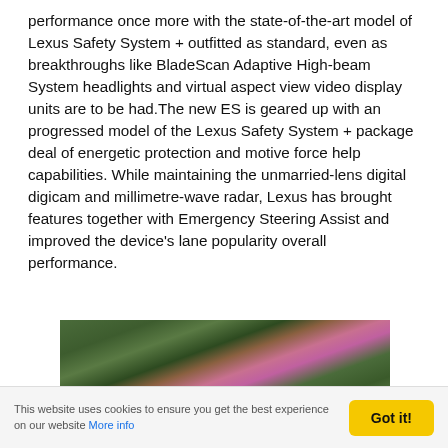performance once more with the state-of-the-art model of Lexus Safety System + outfitted as standard, even as breakthroughs like BladeScan Adaptive High-beam System headlights and virtual aspect view video display units are to be had.The new ES is geared up with an progressed model of the Lexus Safety System + package deal of energetic protection and motive force help capabilities. While maintaining the unmarried-lens digital digicam and millimetre-wave radar, Lexus has brought features together with Emergency Steering Assist and improved the device's lane popularity overall performance.
[Figure (photo): A photograph showing lush green foliage and pink/purple flowering plants, partially visible at the bottom of the page.]
This website uses cookies to ensure you get the best experience on our website More info